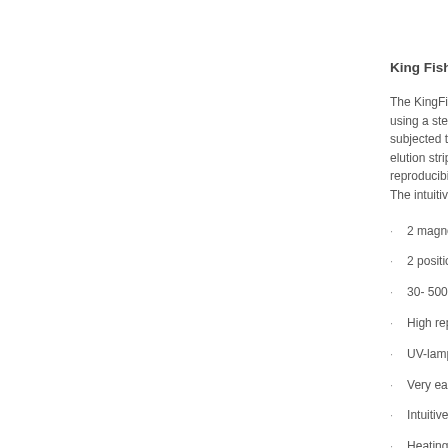King Fisher D
The KingFishe using a sterile subjected to c elution strip c reproducibility The intuitive s
2 magnet com
2 positions fo
30- 5000 ul vo
High reproduc
UV-lamp for d
Very easy to u
Intuitive softw
Heating row A